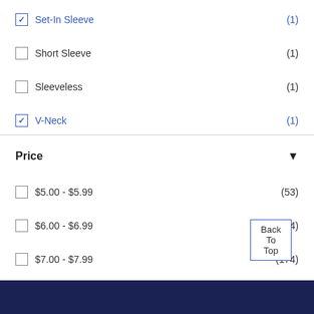Set-In Sleeve (1) — checked
Short Sleeve (1)
Sleeveless (1)
V-Neck (1) — checked
Price
$5.00 - $5.99 (53)
$6.00 - $6.99 (64)
$7.00 - $7.99 (174)
$15.00 - $19.99 (2) — checked
Back To Top